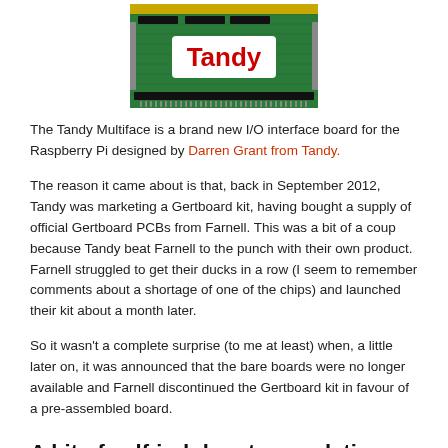[Figure (photo): A green Raspberry Pi I/O interface board (PCB) with a red and white Tandy logo label on it, with connectors and chips visible.]
The Tandy Multiface is a brand new I/O interface board for the Raspberry Pi designed by Darren Grant from Tandy.
The reason it came about is that, back in September 2012, Tandy was marketing a Gertboard kit, having bought a supply of official Gertboard PCBs from Farnell. This was a bit of a coup because Tandy beat Farnell to the punch with their own product. Farnell struggled to get their ducks in a row (I seem to remember comments about a shortage of one of the chips) and launched their kit about a month later.
So it wasn't a complete surprise (to me at least) when, a little later on, it was announced that the bare boards were no longer available and Farnell discontinued the Gertboard kit in favour of a pre-assembled board.
A bit of self-indulgent speculation